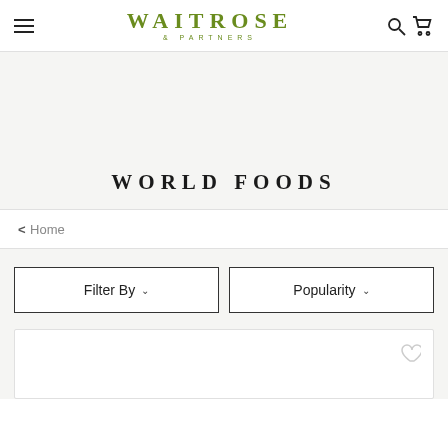WAITROSE & PARTNERS
WORLD FOODS
< Home
Filter By
Popularity